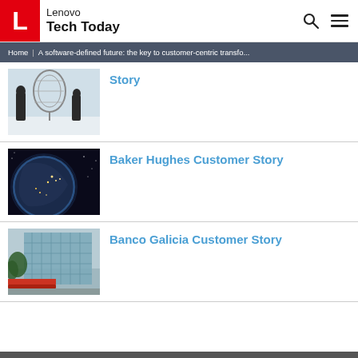Lenovo Tech Today
Home | A software-defined future: the key to customer-centric transfo...
[Figure (photo): Two figures standing in a snowy landscape with a large balloon/sphere structure]
Story
[Figure (photo): Dark image of Earth from space with city lights visible]
Baker Hughes Customer Story
[Figure (photo): Modern glass building exterior with trees and red structural elements]
Banco Galicia Customer Story